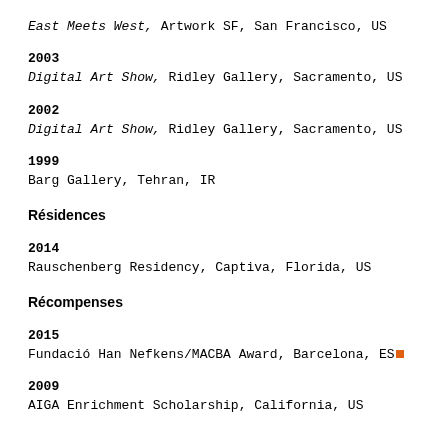East Meets West, Artwork SF, San Francisco, US
2003
Digital Art Show, Ridley Gallery, Sacramento, US
2002
Digital Art Show, Ridley Gallery, Sacramento, US
1999
Barg Gallery, Tehran, IR
Résidences
2014
Rauschenberg Residency, Captiva, Florida, US
Récompenses
2015
Fundació Han Nefkens/MACBA Award, Barcelona, ES
2009
AIGA Enrichment Scholarship, California, US